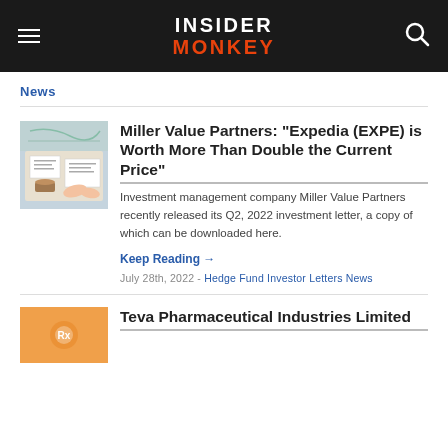INSIDER MONKEY
News
Miller Value Partners: "Expedia (EXPE) is Worth More Than Double the Current Price"
Investment management company Miller Value Partners recently released its Q2, 2022 investment letter, a copy of which can be downloaded here.
Keep Reading →
July 28th, 2022 - Hedge Fund Investor Letters News
Teva Pharmaceutical Industries Limited